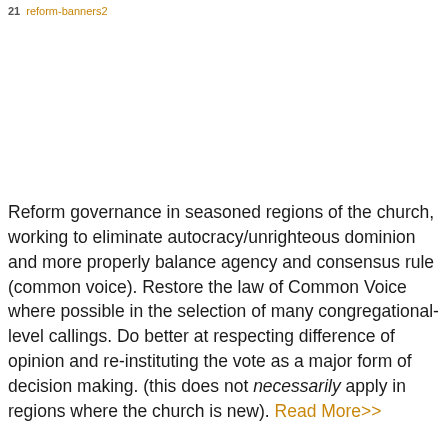reform-banners2
Reform governance in seasoned regions of the church, working to eliminate autocracy/unrighteous dominion and more properly balance agency and consensus rule (common voice). Restore the law of Common Voice where possible in the selection of many congregational-level callings. Do better at respecting difference of opinion and re-instituting the vote as a major form of decision making. (this does not necessarily apply in regions where the church is new). Read More>>